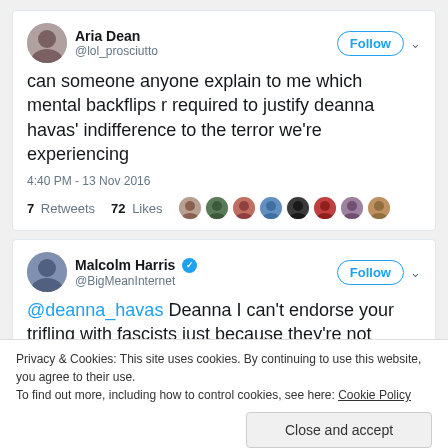[Figure (screenshot): Screenshot of a tweet by Aria Dean (@lol_prosciutto) saying 'can someone anyone explain to me which mental backflips r required to justify deanna havas' indifference to the terror we're experiencing', posted at 4:40 PM - 13 Nov 2016, with 7 Retweets and 72 Likes, followed by a row of user avatars.]
[Figure (screenshot): Screenshot of a tweet by Malcolm Harris (@BigMeanInternet, verified) saying '@deanna_havas Deanna I can't endorse your trifling with fascists just because they're not', partially visible.]
Privacy & Cookies: This site uses cookies. By continuing to use this website, you agree to their use.
To find out more, including how to control cookies, see here: Cookie Policy